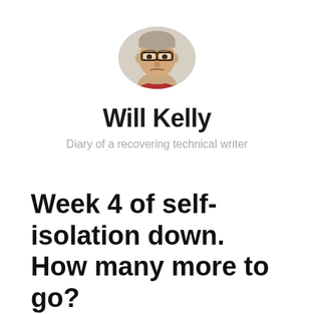[Figure (photo): Circular profile photo of Will Kelly, a middle-aged man with glasses and short hair, wearing a red shirt, against a light beige background.]
Will Kelly
Diary of a recovering technical writer
Week 4 of self-isolation down. How many more to go?